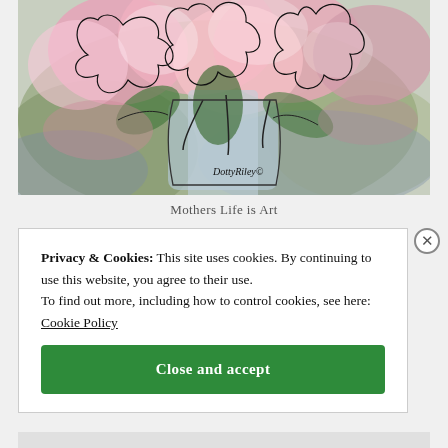[Figure (illustration): Watercolor painting of pink flowers in a vase with loose black ink line work, signed by the artist. Pinks, greens, blues and whites. Signature reads 'DottyRiley©'.]
Mothers Life is Art
Privacy & Cookies: This site uses cookies. By continuing to use this website, you agree to their use. To find out more, including how to control cookies, see here: Cookie Policy
Close and accept